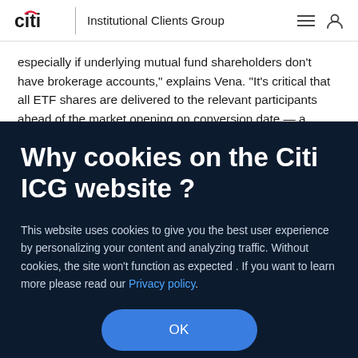citi | Institutional Clients Group
especially if underlying mutual fund shareholders don’t have brokerage accounts,” explains Vena. “It’s critical that all ETF shares are delivered to the relevant participants ahead of the market opening on conversion date — a process which needs to
Why cookies on the Citi ICG website ?
This website uses cookies to give you the best user experience by personalizing your content and analyzing traffic. Without cookies, the site won't function as expected . If you want to learn more please read our Privacy policy.
OK
increasingly ubiquitous, it is vital managers partner with service